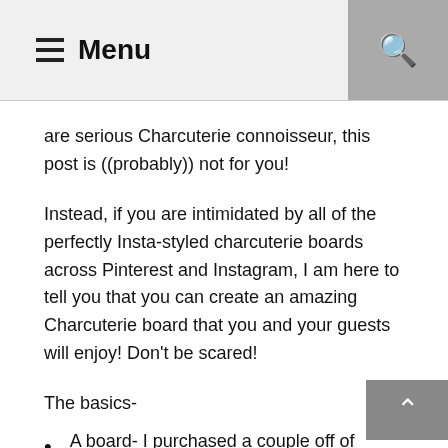Menu
are serious Charcuterie connoisseur, this post is ((probably)) not for you!
Instead, if you are intimidated by all of the perfectly Insta-styled charcuterie boards across Pinterest and Instagram, I am here to tell you that you can create an amazing Charcuterie board that you and your guests will enjoy! Don't be scared!
The basics-
A board- I purchased a couple off of Amazon. This marble one Fox Run 3827 Marble Pastry Board https://www.amazon.com/dp/B0036AQ0IC?ref=ppx_pop_mob_ap_share AND this large, double sided